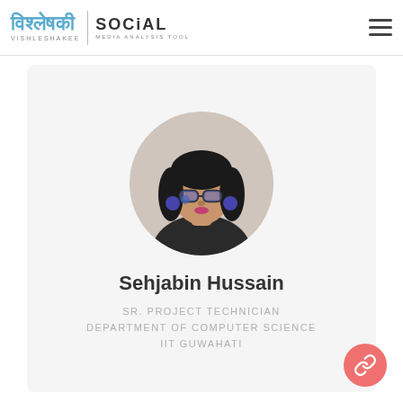Vishleshakee Social Media Analysis Tool
[Figure (photo): Profile photo of Sehjabin Hussain, a young woman with glasses and dark hair, shown in a circular avatar crop]
Sehjabin Hussain
SR. PROJECT TECHNICIAN
DEPARTMENT OF COMPUTER SCIENCE
IIT GUWAHATI